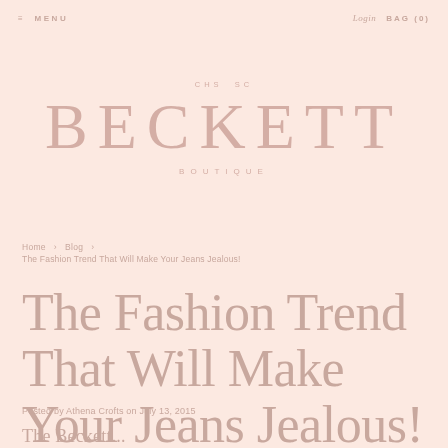≡ MENU   Login   BAG (0)
CHS SC
BECKETT
BOUTIQUE
Home › Blog › The Fashion Trend That Will Make Your Jeans Jealous!
The Fashion Trend That Will Make Your Jeans Jealous!
Posted by Athena Crofts on July 13, 2015
The Beckett...